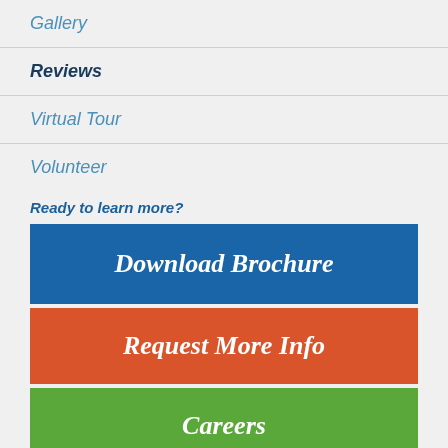Gallery
Reviews
Virtual Tour
Volunteer
Ready to learn more?
Download Brochure
Request More Info
Careers